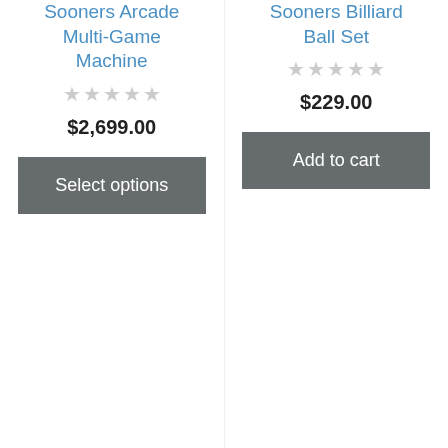Sooners Arcade Multi-Game Machine
★★★★★ (0 stars)
$2,699.00
Select options
Sooners Billiard Ball Set
★★★★★ (0 stars)
$229.00
Add to cart
Oklahoma
Oklahoma